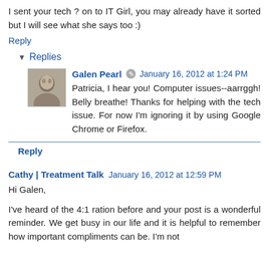I sent your tech ? on to IT Girl, you may already have it sorted but I will see what she says too :)
Reply
Replies
Galen Pearl  January 16, 2012 at 1:24 PM
Patricia, I hear you! Computer issues--aarrggh! Belly breathe! Thanks for helping with the tech issue. For now I'm ignoring it by using Google Chrome or Firefox.
Reply
Cathy | Treatment Talk  January 16, 2012 at 12:59 PM
Hi Galen,
I've heard of the 4:1 ration before and your post is a wonderful reminder. We get busy in our life and it is helpful to remember how important compliments can be. I'm not